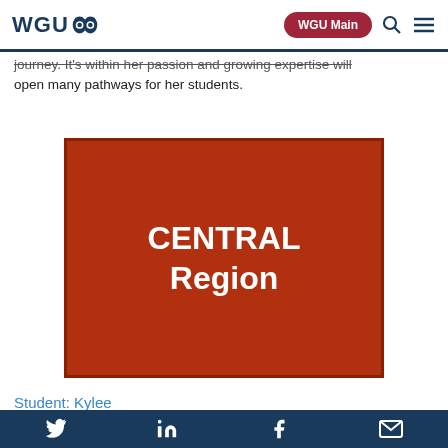WGU | WGU Main
journey. It's within her passion and growing expertise will open many pathways for her students.
[Figure (illustration): Red rectangle with white bold text reading 'CENTRAL Region']
Student: Kylee
Program: Master of Science, Curriculum and Instruction
Social media icons: Twitter, LinkedIn, Facebook, Email